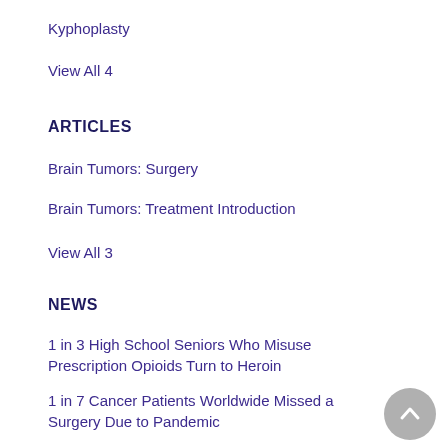Kyphoplasty
View All 4
ARTICLES
Brain Tumors: Surgery
Brain Tumors: Treatment Introduction
View All 3
NEWS
1 in 3 High School Seniors Who Misuse Prescription Opioids Turn to Heroin
1 in 7 Cancer Patients Worldwide Missed a Surgery Due to Pandemic
View All 239
HERBS, VITAMINS & SUPPLEMENTS
Bone Meal